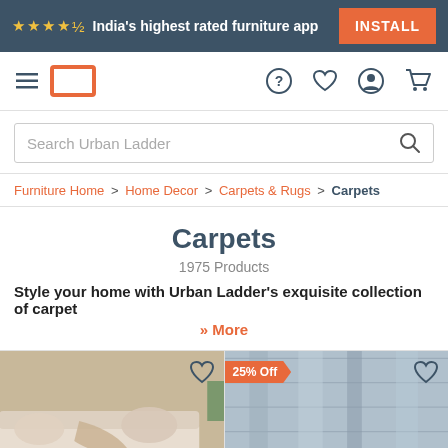★★★★☆ India's highest rated furniture app  INSTALL
[Figure (screenshot): Urban Ladder navigation bar with hamburger menu, logo, question mark, heart, user, and cart icons]
Search Urban Ladder
Furniture Home > Home Decor > Carpets & Rugs > Carpets
Carpets
1975 Products
Style your home with Urban Ladder's exquisite collection of carpet
» More
[Figure (photo): Product image of a beige sofa with throw blanket and teal carpet, with heart wishlist icon]
[Figure (photo): Product image with 25% Off badge and blue-grey textured carpet, with heart wishlist icon]
LIST   SORT BY   FILTER